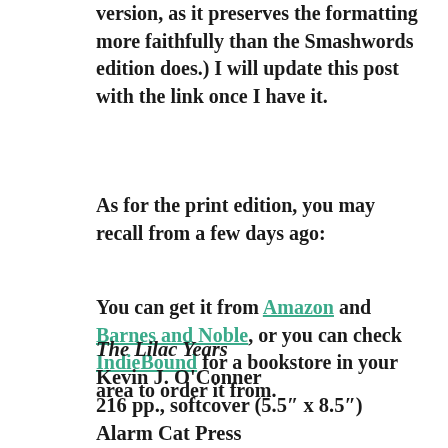version, as it preserves the formatting more faithfully than the Smashwords edition does.) I will update this post with the link once I have it.
As for the print edition, you may recall from a few days ago:
You can get it from Amazon and Barnes and Noble, or you can check IndieBound for a bookstore in your area to order it from.
The Lilac Years
Kevin J. O'Conner
216 pp., softcover (5.5″ x 8.5″)
Alarm Cat Press